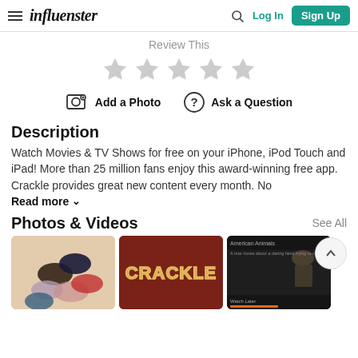influenster — Log In | Sign Up
Review This
[Figure (infographic): Five empty grey star rating icons for user review]
[Figure (infographic): Add a Photo icon button and Ask a Question icon button]
Description
Watch Movies & TV Shows for free on your iPhone, iPod Touch and iPad! More than 25 million fans enjoy this award-winning free app. Crackle provides great new content every month. No
Read more ∨
Photos & Videos
See All
[Figure (photo): Photo of colorful hair scrunchies on beige background]
[Figure (logo): Crackle logo on dark red/maroon background]
[Figure (screenshot): Screenshot of American Animals movie on Crackle streaming app]